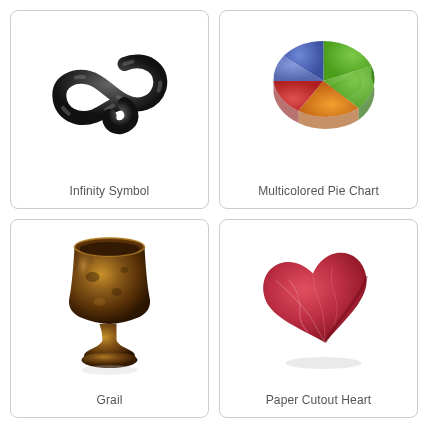[Figure (illustration): 3D render of a dark metallic infinity symbol (S-curve/hook shape)]
Infinity Symbol
[Figure (pie-chart): 3D render of a multicolored pie chart with green, blue, red, and orange segments]
Multicolored Pie Chart
[Figure (illustration): 3D render of a dark bronze/wooden grail or chalice]
Grail
[Figure (illustration): 3D render of a red paper cutout heart, slightly tilted]
Paper Cutout Heart